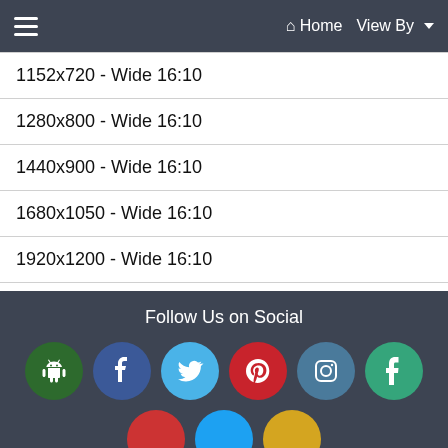≡  Home  View By ▾
1152x720 - Wide 16:10
1280x800 - Wide 16:10
1440x900 - Wide 16:10
1680x1050 - Wide 16:10
1920x1200 - Wide 16:10
2560x1600 - Wide 16:10
2880x1800 - Wide 16:10
3840x2400 - Wide 16:10
5120x3200 - Wide 16:10
Follow Us on Social
[Figure (infographic): Row of social media icon circles: Android (green), Facebook (blue), Twitter (light blue), Pinterest (red), Instagram (teal-blue), Tumblr (green). Partial second row visible at bottom.]